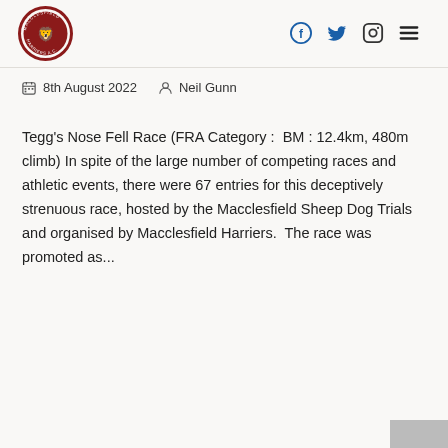[Figure (logo): Macclesfield Harriers AC circular club logo with red border and lion crest]
[Figure (infographic): Social media icons: Facebook, Twitter, Instagram, and hamburger menu icon in navy/dark blue]
8th August 2022   Neil Gunn
Tegg's Nose Fell Race (FRA Category :  BM : 12.4km, 480m climb) In spite of the large number of competing races and athletic events, there were 67 entries for this deceptively strenuous race, hosted by the Macclesfield Sheep Dog Trials and organised by Macclesfield Harriers.  The race was promoted as...